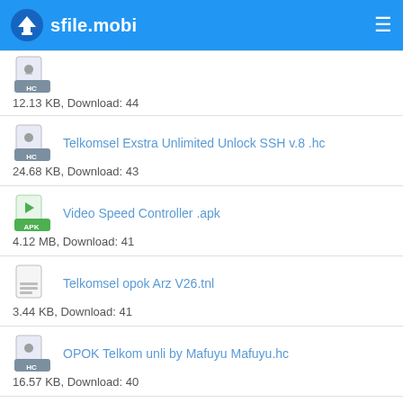sfile.mobi
12.13 KB, Download: 44
Telkomsel Exstra Unlimited Unlock SSH v.8 .hc
24.68 KB, Download: 43
Video Speed Controller .apk
4.12 MB, Download: 41
Telkomsel opok Arz V26.tnl
3.44 KB, Download: 41
OPOK Telkom unli by Mafuyu Mafuyu.hc
16.57 KB, Download: 40
MJF XL AXIS EDUKASI v159.hc
75.57 KB, Download: 40